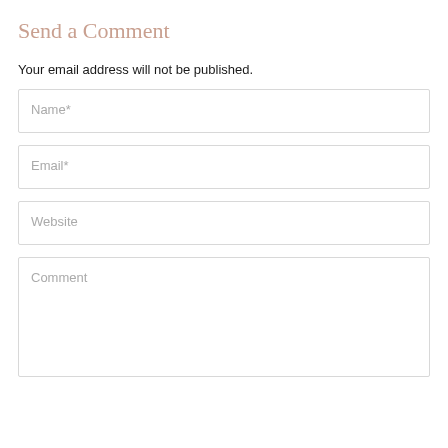Send a Comment
Your email address will not be published.
Name*
Email*
Website
Comment